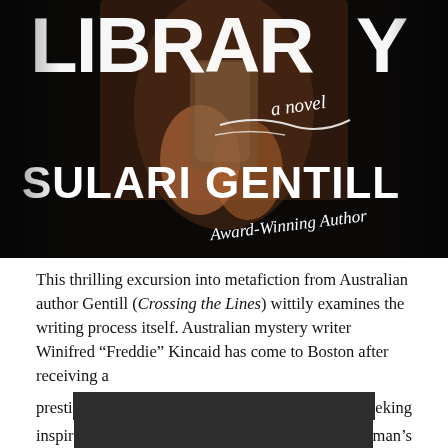[Figure (photo): Book cover of a novel showing partial title 'LIBRAR[Y]' in large white hand-lettered text on dark background, with an image of hands holding a glass, subtitle 'a novel' in script, author name 'SULARI GENTILL' in large bold white text, and 'Award-Winning Author' in script below.]
This thrilling excursion into metafiction from Australian author Gentill (Crossing the Lines) wittily examines the writing process itself. Australian mystery writer Winifred "Freddie" Kincaid has come to Boston after receiving a presti[gious fellowship and is seeking] inspir[ation from] [a dead man's]